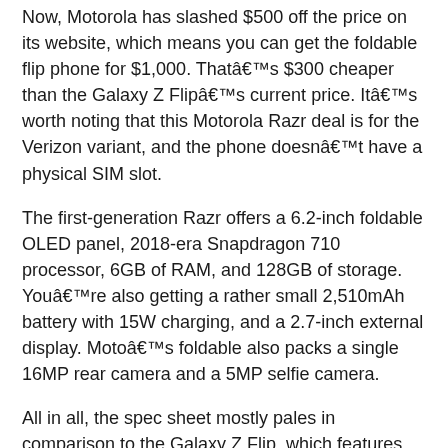Now, Motorola has slashed $500 off the price on its website, which means you can get the foldable flip phone for $1,000. Thatâ€™s $300 cheaper than the Galaxy Z Flipâ€™s current price. Itâ€™s worth noting that this Motorola Razr deal is for the Verizon variant, and the phone doesnâ€™t have a physical SIM slot.
The first-generation Razr offers a 6.2-inch foldable OLED panel, 2018-era Snapdragon 710 processor, 6GB of RAM, and 128GB of storage. Youâ€™re also getting a rather small 2,510mAh battery with 15W charging, and a 2.7-inch external display. Motoâ€™s foldable also packs a single 16MP rear camera and a 5MP selfie camera.
All in all, the spec sheet mostly pales in comparison to the Galaxy Z Flip, which features flagship-level power, a bigger battery, dual rear cameras, and ultra-thin glass on the foldable screen. Furthermore, Motorola is readying a second-generation foldable for launch soon.